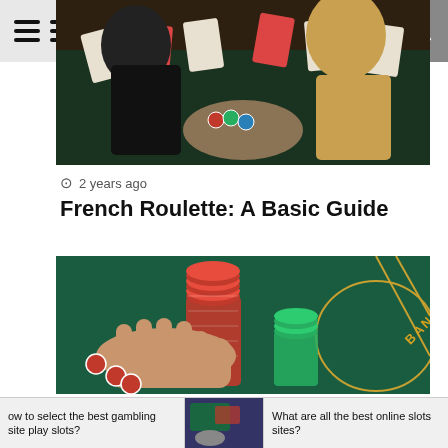Trending Now
[Figure (photo): Casino card game scene with players around a table]
2 years ago
French Roulette: A Basic Guide
[Figure (photo): Hands handling red and green casino chips on a baccarat table with BANKER text visible]
2 years ago
You Will Have The Best Gifts Possible Here
how to select the best gambling site play slots?   What are all the best online slots sites?